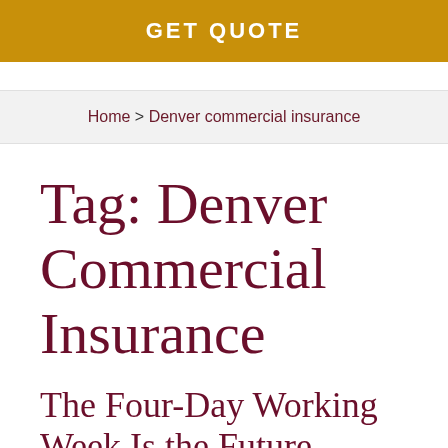GET QUOTE
Home > Denver commercial insurance
Tag: Denver Commercial Insurance
The Four-Day Working Week Is the Future – Here's